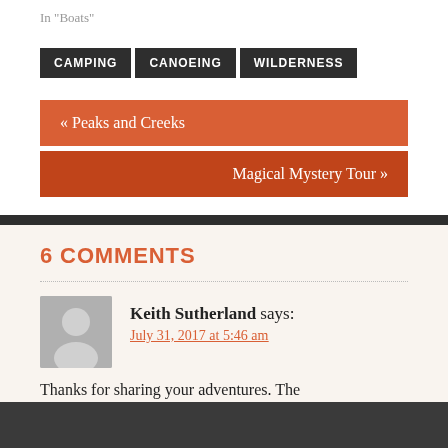In "Boats"
CAMPING
CANOEING
WILDERNESS
« Peaks and Creeks
Magical Mystery Tour »
6 COMMENTS
Keith Sutherland says:
July 31, 2017 at 5:46 am
Thanks for sharing your adventures. The